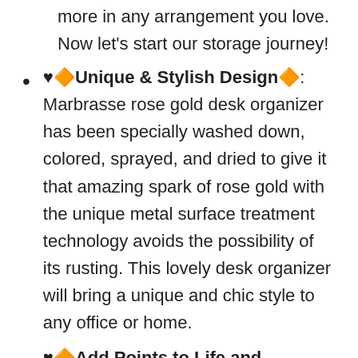more in any arrangement you love. Now let's start our storage journey!
♥︎🔶Unique & Stylish Design🔶: Marbrasse rose gold desk organizer has been specially washed down, colored, sprayed, and dried to give it that amazing spark of rose gold with the unique metal surface treatment technology avoids the possibility of its rusting. This lovely desk organizer will bring a unique and chic style to any office or home.
♥︎🔶Add Points to Life and Work🔶🔶 This office desk organizer is suitable